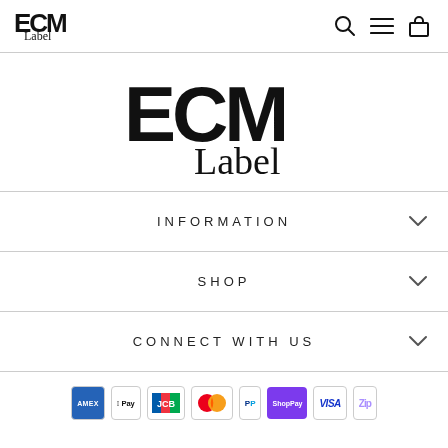ECM Label — header with search, menu, cart icons
[Figure (logo): ECM Label logo centered, large black text]
INFORMATION
SHOP
CONNECT WITH US
[Figure (infographic): Payment method icons: AMEX, Apple Pay, JCB, Mastercard, PayPal, OPay, Visa, Zip]